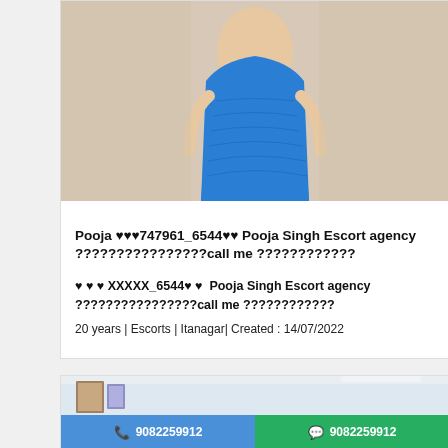[Figure (photo): Photo of a person in a blue dress, cropped at torso level]
Pooja ❤❤❤747961_6544❤❤ Pooja Singh Escort agency ????????????????call me ????????????
❤ ❤ ❤ XXXXX_6544❤ ❤  Pooja Singh Escort agency ????????????????call me ????????????
20 years | Escorts | Itanagar| Created : 14/07/2022
[Figure (photo): Photo of an interior room with call and WhatsApp buttons showing number 9082259912]